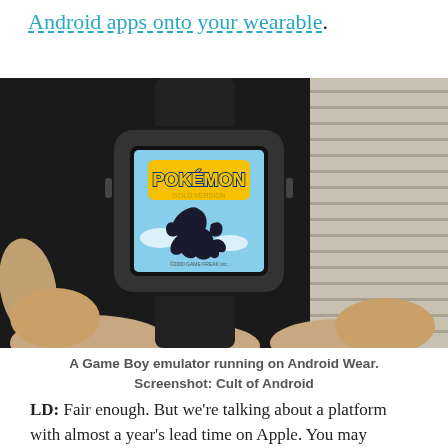Android apps onto your wearable.
[Figure (photo): A smartwatch (Android Wear device) with a black band being held by a person's hands. The watch screen displays the Pokemon Gold Version game title screen with the Pokemon logo and a Lugia silhouette. The background shows window blinds.]
A Game Boy emulator running on Android Wear. Screenshot: Cult of Android
LD: Fair enough. But we're talking about a platform with almost a year's lead time on Apple. You may